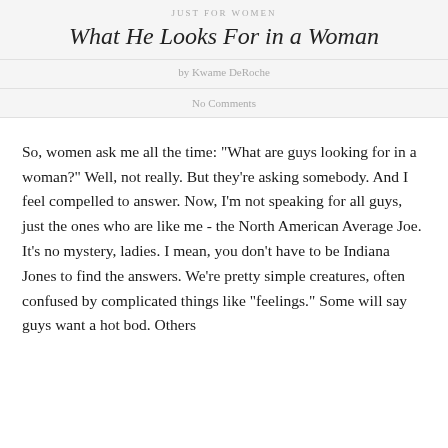JUST FOR WOMEN
What He Looks For in a Woman
by Kwame DeRoche
No Comments
So, women ask me all the time: "What are guys looking for in a woman?" Well, not really. But they're asking somebody. And I feel compelled to answer. Now, I'm not speaking for all guys, just the ones who are like me - the North American Average Joe. It's no mystery, ladies. I mean, you don't have to be Indiana Jones to find the answers. We're pretty simple creatures, often confused by complicated things like "feelings." Some will say guys want a hot bod. Others